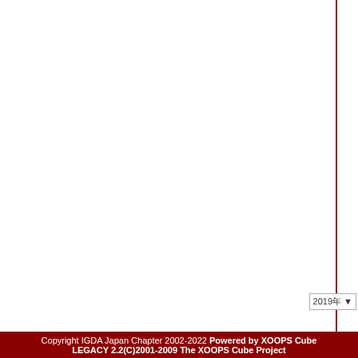|  |  |
| --- | --- |
| 9月4日
(火) |  |
| 9月5日
(水) |  |
| 9月6日
(木) |  |
| 9月7日
(金) |  |
2019年 ▼
Copyright IGDA Japan Chapter 2002-2022 Powered by XOOPS Cube LEGACY 2.2(C)2001-2009 The XOOPS Cube Project